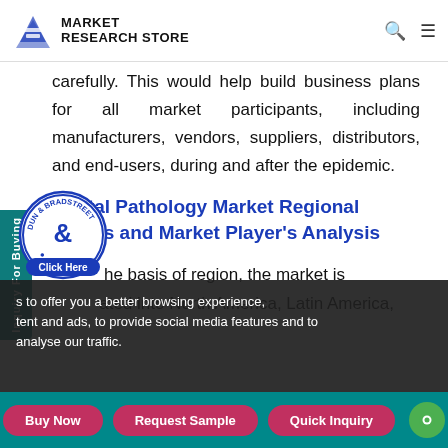MARKET RESEARCH STORE
carefully. This would help build business plans for all market participants, including manufacturers, vendors, suppliers, distributors, and end-users, during and after the epidemic.
Digital Pathology Market Regional Trends and Market Player's Analysis
the basis of region, the market is ated into North America, Latin America,
s to offer you a better browsing experience, tent and ads, to provide social media features and to analyse our traffic.
Buy Now | Request Sample | Quick Inquiry